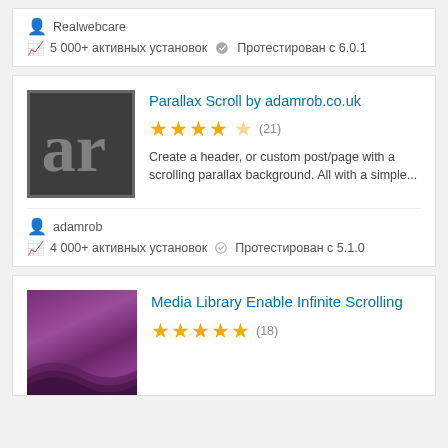Realwebcare
5 000+ активных установок  Протестирован с 6.0.1
Parallax Scroll by adamrob.co.uk
★★★★☆ (21)
Create a header, or custom post/page with a scrolling parallax background. All with a simple...
adamrob
4 000+ активных установок  Протестирован с 5.1.0
Media Library Enable Infinite Scrolling
★★★★★ (18)